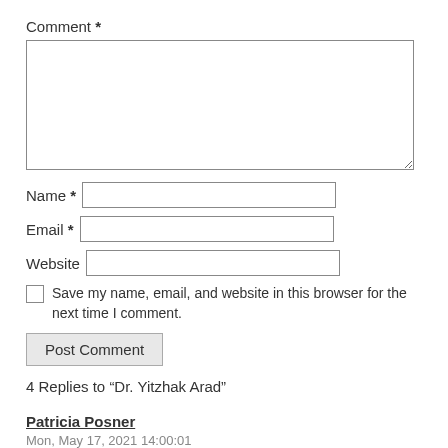Comment *
[Figure (other): Textarea input box for comment]
Name *
Email *
Website
Save my name, email, and website in this browser for the next time I comment.
Post Comment
4 Replies to “Dr. Yitzhak Arad”
Patricia Posner
Mon, May 17, 2021 14:00:01
A wonderful tribute to a remarkable man, he leaves us all with inspiration and lessons for the future.